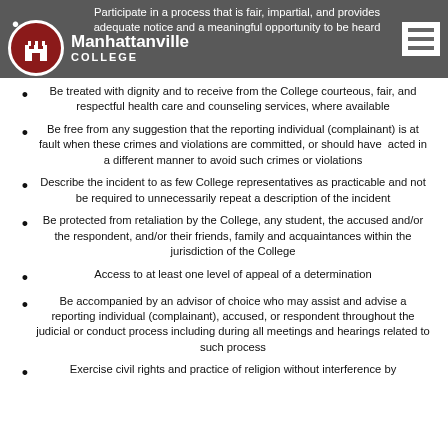Manhattanville College
Participate in a process that is fair, impartial, and provides adequate notice and a meaningful opportunity to be heard
Be treated with dignity and to receive from the College courteous, fair, and respectful health care and counseling services, where available
Be free from any suggestion that the reporting individual (complainant) is at fault when these crimes and violations are committed, or should have acted in a different manner to avoid such crimes or violations
Describe the incident to as few College representatives as practicable and not be required to unnecessarily repeat a description of the incident
Be protected from retaliation by the College, any student, the accused and/or the respondent, and/or their friends, family and acquaintances within the jurisdiction of the College
Access to at least one level of appeal of a determination
Be accompanied by an advisor of choice who may assist and advise a reporting individual (complainant), accused, or respondent throughout the judicial or conduct process including during all meetings and hearings related to such process
Exercise civil rights and practice of religion without interference by